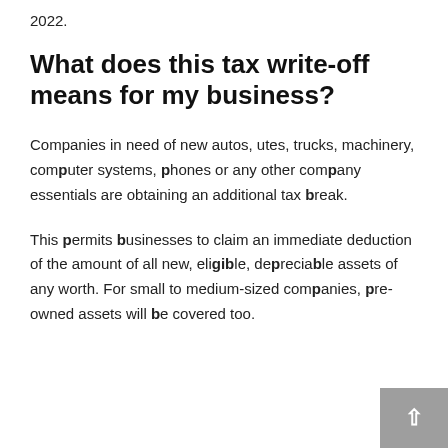2022.
What does this tax write-off means for my business?
Companies in need of new autos, utes, trucks, machinery, computer systems, phones or any other company essentials are obtaining an additional tax break.
This permits businesses to claim an immediate deduction of the amount of all new, eligible, depreciable assets of any worth. For small to medium-sized companies, pre-owned assets will be covered too.